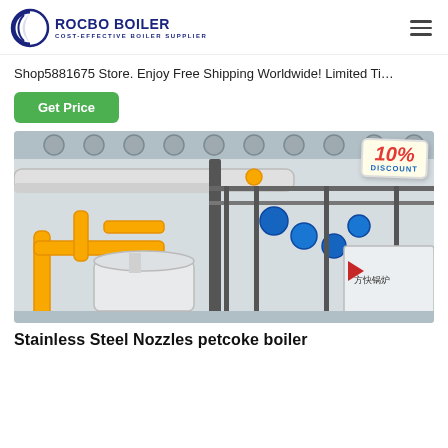ROCBO BOILER — COST-EFFECTIVE BOILER SUPPLIER
Shop5881675 Store. Enjoy Free Shipping Worldwide! Limited Ti…
Get Price
[Figure (photo): Industrial boiler facility showing yellow gas pipes, blue valves, and gray insulated vessels in an indoor factory setting, with a 10% DISCOUNT badge overlay in the top right corner.]
Stainless Steel Nozzles petcoke boiler